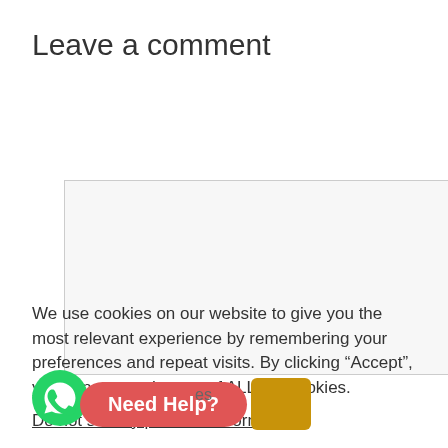Leave a comment
[Figure (other): Empty comment textarea input box with light gray background and border]
We use cookies on our website to give you the most relevant experience by remembering your preferences and repeat visits. By clicking “Accept”, you consent to the use of ALL the cookies.
Do not sell my personal information.
[Figure (other): WhatsApp circular green button icon at bottom left]
[Figure (other): Red rounded 'Need Help?' button and partially visible yellow block]